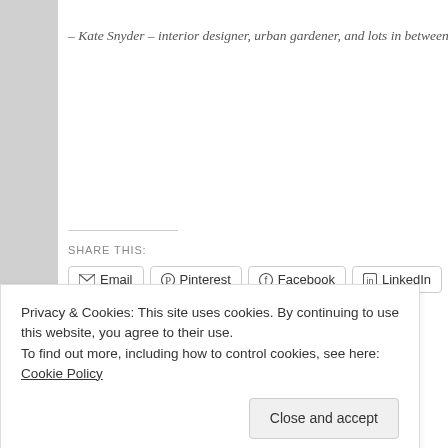– Kate Snyder – interior designer, urban gardener, and lots in between
SHARE THIS:
Email   Pinterest   Facebook   LinkedIn   More
Like
Be the first to like this.
Privacy & Cookies: This site uses cookies. By continuing to use this website, you agree to their use. To find out more, including how to control cookies, see here: Cookie Policy
Close and accept
Leave a Reply